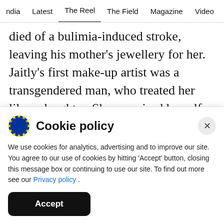ndia   Latest   The Reel   The Field   Magazine   Video   Trend
died of a bulimia-induced stroke, leaving his mother's jewellery for her. Jaitly's first make-up artist was a transgendered man, who treated her like a daughter. She promised herself that she would take up the cause of gay rights once she got the opportunity.
ADVERTISEMENT
Cookie policy
We use cookies for analytics, advertising and to improve our site. You agree to our use of cookies by hitting 'Accept' button, closing this message box or continuing to use our site. To find out more see our Privacy policy .
Accept